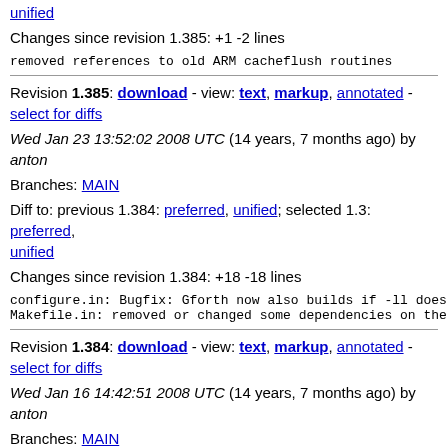unified
Changes since revision 1.385: +1 -2 lines
removed references to old ARM cacheflush routines
Revision 1.385: download - view: text, markup, annotated - select for diffs
Wed Jan 23 13:52:02 2008 UTC (14 years, 7 months ago) by anton
Branches: MAIN
Diff to: previous 1.384: preferred, unified; selected 1.3: preferred, unified
Changes since revision 1.384: +18 -18 lines
configure.in: Bugfix: Gforth now also builds if -ll does
Makefile.in: removed or changed some dependencies on the
Revision 1.384: download - view: text, markup, annotated - select for diffs
Wed Jan 16 14:42:51 2008 UTC (14 years, 7 months ago) by anton
Branches: MAIN
Diff to: previous 1.383: preferred, unified; selected 1.3: preferred, unified
Changes since revision 1.383: +2 -2 lines
minor Makefile.in bugfix